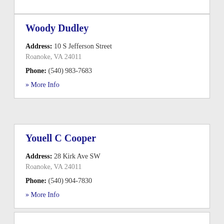Woody Dudley
Address: 10 S Jefferson Street Roanoke, VA 24011
Phone: (540) 983-7683
» More Info
Youell C Cooper
Address: 28 Kirk Ave SW Roanoke, VA 24011
Phone: (540) 904-7830
» More Info